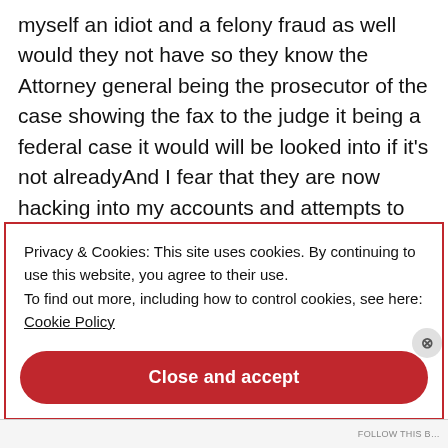myself an idiot and a felony fraud as well would they not have so they know the Attorney general being the prosecutor of the case showing the fax to the judge it being a federal case it would will be looked into if it’s not alreadyAnd I fear that they are now hacking into my accounts and attempts to look like me because they have found absolutely nothing on me going through my search history on my taxes and everything else you name it they’ve done itAnd I have nothing to hide
Privacy & Cookies: This site uses cookies. By continuing to use this website, you agree to their use.
To find out more, including how to control cookies, see here: Cookie Policy
Close and accept